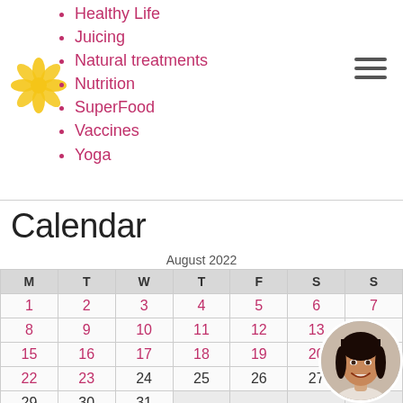Healthy Life
Juicing
Natural treatments
Nutrition
SuperFood
Vaccines
Yoga
Calendar
| M | T | W | T | F | S | S |
| --- | --- | --- | --- | --- | --- | --- |
| 1 | 2 | 3 | 4 | 5 | 6 | 7 |
| 8 | 9 | 10 | 11 | 12 | 13 | 14 |
| 15 | 16 | 17 | 18 | 19 | 20 | 21 |
| 22 | 23 | 24 | 25 | 26 | 27 | 28 |
| 29 | 30 | 31 |  |  |  |  |
[Figure (photo): Circular portrait photo of a smiling woman with dark hair]
[Figure (logo): Yellow flower logo]